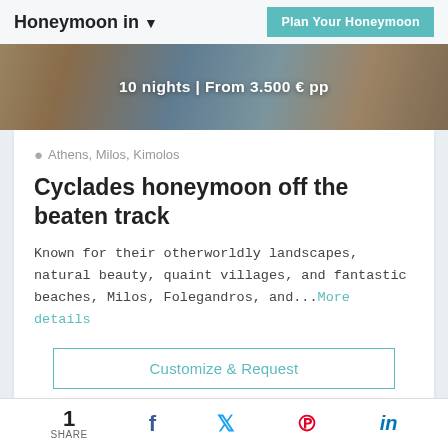Honeymoon in ▾
Plan Your Honeymoon
[Figure (photo): Scenic coastal landscape with whitewashed buildings and rocky hills, overlaid with text: 10 nights | From 3.500 € pp]
Athens, Milos, Kimolos
Cyclades honeymoon off the beaten track
Known for their otherworldly landscapes, natural beauty, quaint villages, and fantastic beaches, Milos, Folegandros, and...More details
Customize & Request
1 SHARE  [Facebook]  [Twitter]  [Pinterest]  [LinkedIn]